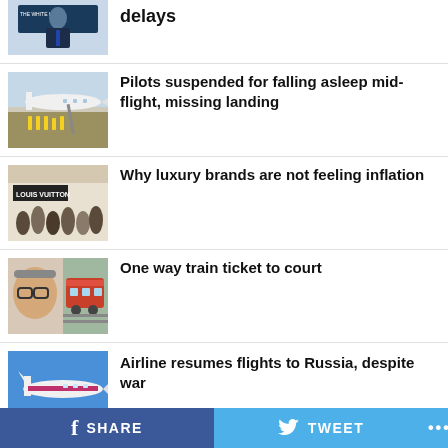[Figure (photo): Partial photo of a man in suit at White House podium - cropped at top]
delays
[Figure (photo): Airplane on tarmac with workers nearby]
Pilots suspended for falling asleep mid-flight, missing landing
[Figure (photo): Louis Vuitton store with crowd of shoppers]
Why luxury brands are not feeling inflation
[Figure (photo): Older man face with train in background]
One way train ticket to court
[Figure (photo): Airplane on blue sky background]
Airline resumes flights to Russia, despite war
SHARE   TWEET   ...